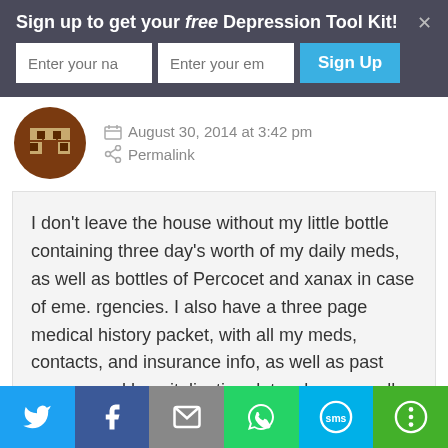Sign up to get your free Depression Tool Kit!
[Figure (screenshot): Sign-up form with name field, email field, and Sign Up button on dark background]
August 30, 2014 at 3:42 pm
Permalink
I don't leave the house without my little bottle containing three day's worth of my daily meds, as well as bottles of Percocet and xanax in case of eme. rgencies. I also have a three page medical history packet, with all my meds, contacts, and insurance info, as well as past surgery and hospitalization dates, because all the meds, treatments, and fibro have ravaged my memory.
[Figure (infographic): Social sharing bar with Twitter, Facebook, Email, WhatsApp, SMS, and share buttons]